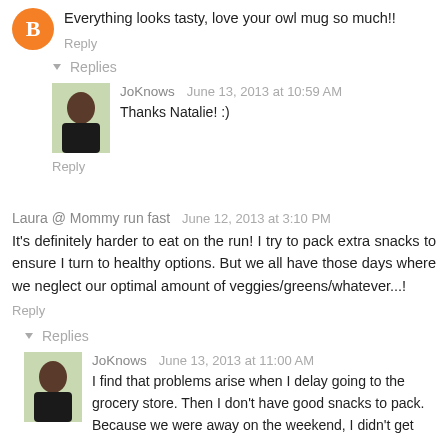Everything looks tasty, love your owl mug so much!!
Reply
Replies
JoKnows   June 13, 2013 at 10:59 AM
Thanks Natalie! :)
Reply
Laura @ Mommy run fast   June 12, 2013 at 3:10 PM
It's definitely harder to eat on the run! I try to pack extra snacks to ensure I turn to healthy options. But we all have those days where we neglect our optimal amount of veggies/greens/whatever...!
Reply
Replies
JoKnows   June 13, 2013 at 11:00 AM
I find that problems arise when I delay going to the grocery store. Then I don't have good snacks to pack. Because we were away on the weekend, I didn't get